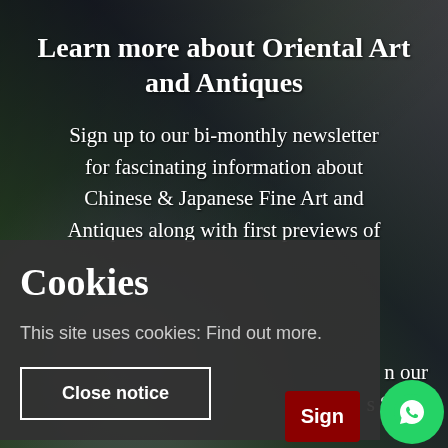Learn more about Oriental Art and Antiques
Sign up to our bi-monthly newsletter for fascinating information about Chinese & Japanese Fine Art and Antiques along with first previews of … n our
Cookies
This site uses cookies: Find out more.
Close notice
s “Sign
Sign